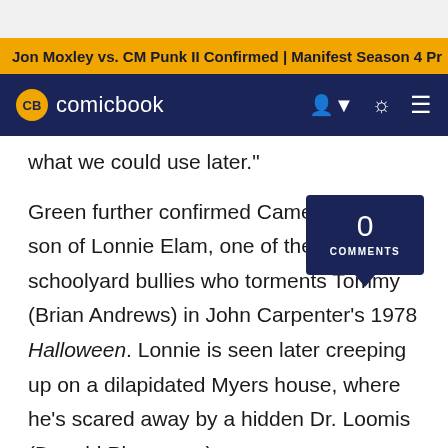Jon Moxley vs. CM Punk II Confirmed | Manifest Season 4 Pr
[Figure (logo): CB comicbook logo on dark navy navigation bar with user icon, brightness icon, and menu icon]
what we could use later."
Green further confirmed Cameron is the son of Lonnie Elam, one of the young schoolyard bullies who torments Tommy (Brian Andrews) in John Carpenter's 1978 Halloween. Lonnie is seen later creeping up on a dilapidated Myers house, where he's scared away by a hidden Dr. Loomis (Donald Pleasence).
The above deleted scene is one of seven included on the Halloween home release, reaching 4K Ultra HD, Blu-ray